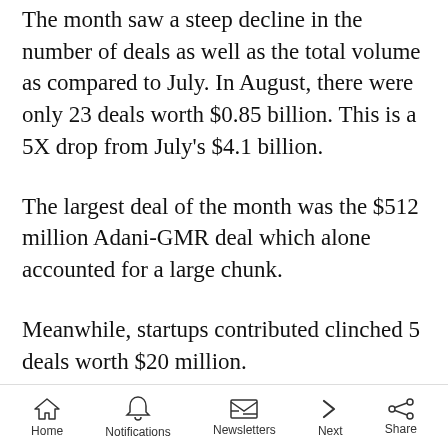The month saw a steep decline in the number of deals as well as the total volume as compared to July. In August, there were only 23 deals worth $0.85 billion. This is a 5X drop from July's $4.1 billion.
The largest deal of the month was the $512 million Adani-GMR deal which alone accounted for a large chunk.
Meanwhile, startups contributed clinched 5 deals worth $20 million.
“Owing to global trade tensions and failure to
Home  Notifications  Newsletters  Next  Share